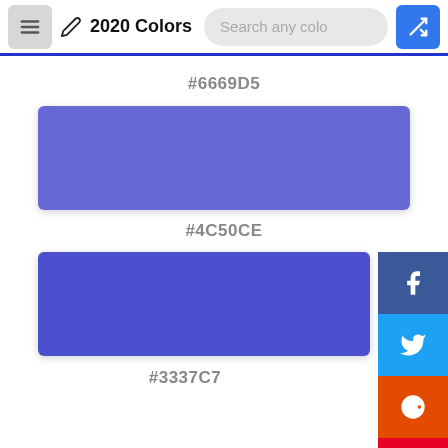2020 Colors
#6669D5
[Figure (other): Color swatch showing color #6669D5 - a medium purple-blue rectangular block]
#4C50CE
[Figure (other): Color swatch showing color #4C50CE - a medium-dark blue rectangular block]
#3337C7
[Figure (other): Social share sidebar with Facebook, Twitter, Reddit, Pinterest, and email buttons]